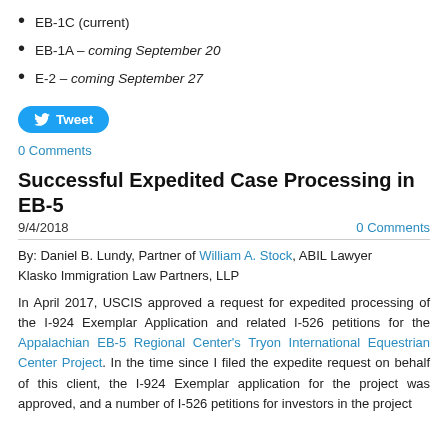EB-1C (current)
EB-1A – coming September 20
E-2 – coming September 27
[Figure (other): Tweet button]
0 Comments
Successful Expedited Case Processing in EB-5
9/4/2018
0 Comments
By: Daniel B. Lundy, Partner of William A. Stock, ABIL Lawyer Klasko Immigration Law Partners, LLP
In April 2017, USCIS approved a request for expedited processing of the I-924 Exemplar Application and related I-526 petitions for the Appalachian EB-5 Regional Center's Tryon International Equestrian Center Project. In the time since I filed the expedite request on behalf of this client, the I-924 Exemplar application for the project was approved, and a number of I-526 petitions for investors in the project